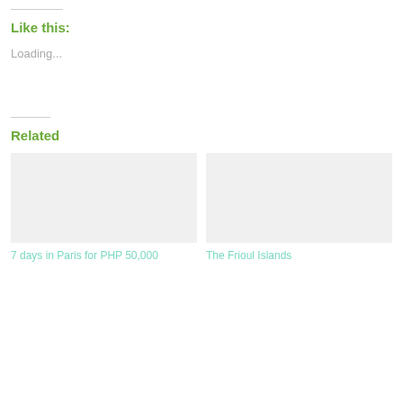Like this:
Loading...
Related
7 days in Paris for PHP 50,000
The Frioul Islands